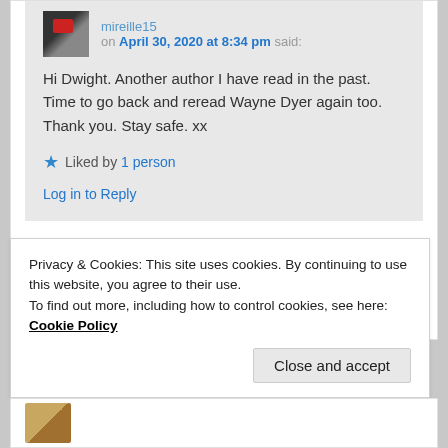mireille15 on April 30, 2020 at 8:34 pm said:
Hi Dwight. Another author I have read in the past. Time to go back and reread Wayne Dyer again too. Thank you. Stay safe. xx
Liked by 1 person
Log in to Reply
Privacy & Cookies: This site uses cookies. By continuing to use this website, you agree to their use. To find out more, including how to control cookies, see here: Cookie Policy
Close and accept